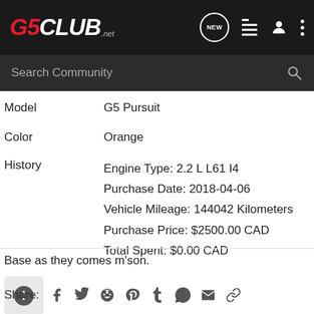G5CLUB.net — Search Community
| Field | Value |
| --- | --- |
| Model | G5 Pursuit |
| Color | Orange |
| History | Engine Type: 2.2 L L61 I4
Purchase Date: 2018-04-06
Vehicle Mileage: 144042 Kilometers
Purchase Price: $2500.00 CAD
Total Spent: $0.00 CAD |
Base as they comes m'son.
Share: